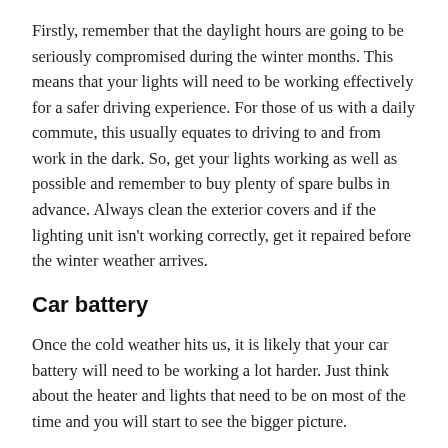Firstly, remember that the daylight hours are going to be seriously compromised during the winter months. This means that your lights will need to be working effectively for a safer driving experience. For those of us with a daily commute, this usually equates to driving to and from work in the dark. So, get your lights working as well as possible and remember to buy plenty of spare bulbs in advance. Always clean the exterior covers and if the lighting unit isn't working correctly, get it repaired before the winter weather arrives.
Car battery
Once the cold weather hits us, it is likely that your car battery will need to be working a lot harder. Just think about the heater and lights that need to be on most of the time and you will start to see the bigger picture.